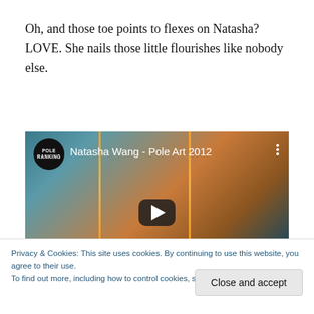Oh, and those toe points to flexes on Natasha? LOVE. She nails those little flourishes like nobody else.
[Figure (screenshot): YouTube video thumbnail for 'Natasha Wang - Pole Art 2012' with Pole Ranking logo, showing a dancer on a pole with dramatic orange and teal lighting, play button visible]
Privacy & Cookies: This site uses cookies. By continuing to use this website, you agree to their use.
To find out more, including how to control cookies, see here: Cookie Policy
Close and accept